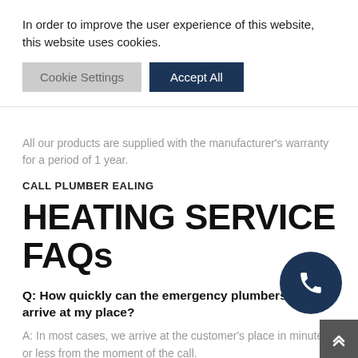In order to improve the user experience of this website, this website uses cookies.
Cookie Settings | Accept All
All our products are supplied with the manufacturer's warranty for a period of 1 year.
CALL PLUMBER EALING
HEATING SERVICE FAQs
Q: How quickly can the emergency plumbers Ealing arrive at my place?
A: In most cases, we arrive at the customer's place in minutes or less from the moment of the call.
Q: How much time does it take to complete the Ealing plumbing work?